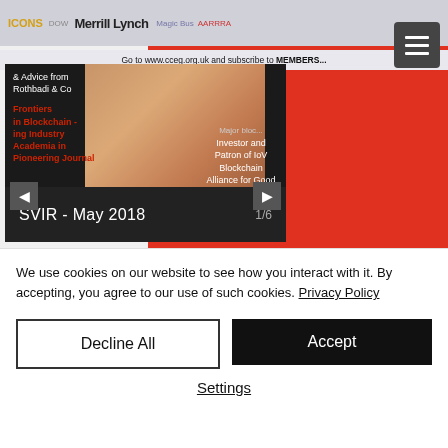[Figure (screenshot): A website screenshot showing a CCEG/Merrill Lynch branded page with a carousel featuring 'SVIR - May 2018' (1/6). The carousel shows a woman's portrait with text overlays: '& Advice from Rothbadi & Co', 'Frontiers in Blockchain – ing Industry Academia in Pioneering Journal' on the left, and 'Major block... Investor and Patron of IoV Blockchain Alliance for Good' on the right. The carousel has left/right navigation arrows and a dark caption bar. A hamburger menu icon appears in the top-right corner.]
We use cookies on our website to see how you interact with it. By accepting, you agree to our use of such cookies. Privacy Policy
Decline All
Accept
Settings